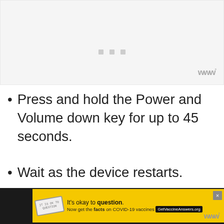[Figure (screenshot): Screenshot placeholder image area with light gray background, three small gray squares in center, and a stylized W logo in bottom right corner]
Press and hold the Power and Volume down key for up to 45 seconds.
Wait as the device restarts.
Check if the issue still occurs.
[Figure (screenshot): Advertisement banner: yellow background with stamp icon, text 'It's okay to question. Now get the facts on COVID-19 vaccines GetVaccineAnswers.org', with close X button, on dark background bar]